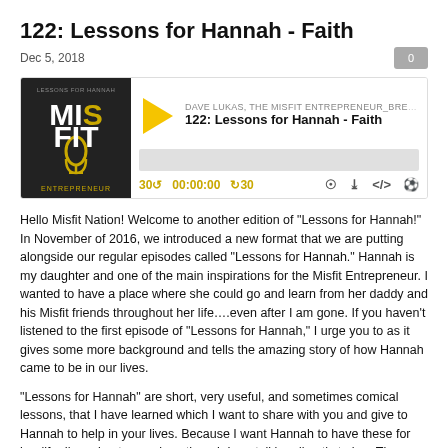122: Lessons for Hannah - Faith
Dec 5, 2018
[Figure (other): Podcast player widget for episode 122: Lessons for Hannah - Faith by Dave Lukas, The Misfit Entrepreneur. Shows podcast logo, play button, progress bar, and playback controls including skip back 30s, time 00:00:00, skip forward 30s, and icons for cast, download, embed, and headphones.]
Hello Misfit Nation! Welcome to another edition of "Lessons for Hannah!" In November of 2016, we introduced a new format that we are putting alongside our regular episodes called “Lessons for Hannah.” Hannah is my daughter and one of the main inspirations for the Misfit Entrepreneur. I wanted to have a place where she could go and learn from her daddy and his Misfit friends throughout her life….even after I am gone. If you haven't listened to the first episode of "Lessons for Hannah," I urge you to as it gives some more background and tells the amazing story of how Hannah came to be in our lives.
"Lessons for Hannah" are short, very useful, and sometimes comical lessons, that I have learned which I want to share with you and give to Hannah to help in your lives. Because I want Hannah to have these for her life, I’m going to speak as though I am talking directly to her. These episodes are a lot of fun and if you think there is a lesson that we should include in these episodes, please don’t hesitate to send it over to us at support@misfitentrepreneur.com. We’d love to hear it.